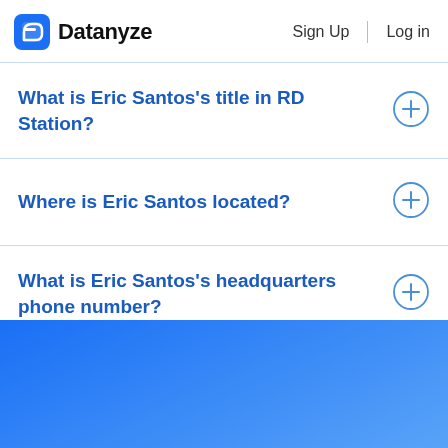Datanyze  Sign Up  Log in
What is Eric Santos's title in RD Station?
Where is Eric Santos located?
What is Eric Santos's headquarters phone number?